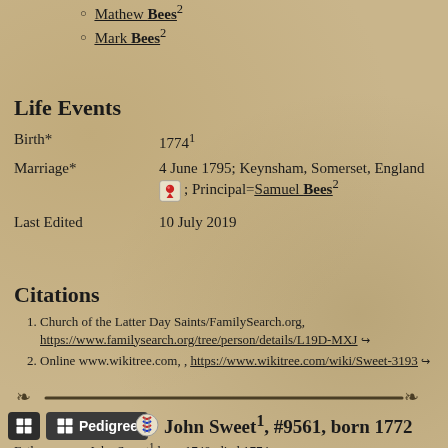Mathew Bees²
Mark Bees²
Life Events
| Event | Details |
| --- | --- |
| Birth* | 1774¹ |
| Marriage* | 4 June 1795; Keynsham, Somerset, England 🗺; Principal=Samuel Bees² |
| Last Edited | 10 July 2019 |
Citations
Church of the Latter Day Saints/FamilySearch.org, https://www.familysearch.org/tree/person/details/L19D-MXJ ↗
Online www.wikitree.com, , https://www.wikitree.com/wiki/Sweet-3193 ↗
John Sweet¹, #9561, born 1772
Father ...